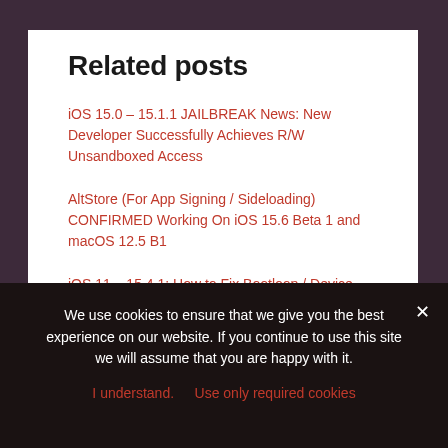Related posts
iOS 15.0 – 15.1.1 JAILBREAK News: New Developer Successfully Achieves R/W Unsandboxed Access
AltStore (For App Signing / Sideloading) CONFIRMED Working On iOS 15.6 Beta 1 and macOS 12.5 B1
iOS 11 – 15.4.1: How to Fix Bootloop / Device Stuck in Recovery or DFU Mode With TunesKit
We use cookies to ensure that we give you the best experience on our website. If you continue to use this site we will assume that you are happy with it.
I understand.   Use only required cookies